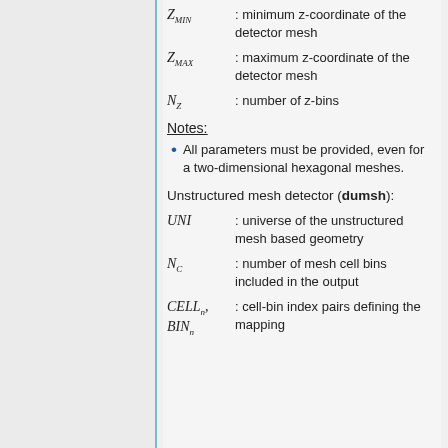Z_MIN : minimum z-coordinate of the detector mesh
Z_MAX : maximum z-coordinate of the detector mesh
N_Z : number of z-bins
Notes:
All parameters must be provided, even for a two-dimensional hexagonal meshes.
Unstructured mesh detector (dumsh):
UNI : universe of the unstructured mesh based geometry
N_C : number of mesh cell bins included in the output
CELL_n, BIN_n : cell-bin index pairs defining the mapping